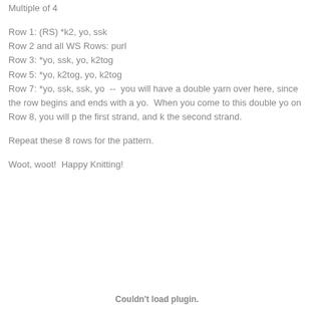Multiple of 4
Row 1: (RS) *k2, yo, ssk
Row 2 and all WS Rows: purl
Row 3: *yo, ssk, yo, k2tog
Row 5: *yo, k2tog, yo, k2tog
Row 7: *yo, ssk, ssk, yo  --  you will have a double yarn over here, since the row begins and ends with a yo.  When you come to this double yo on Row 8, you will p the first strand, and k the second strand.
Repeat these 8 rows for the pattern.
Woot, woot!  Happy Knitting!
Couldn't load plugin.